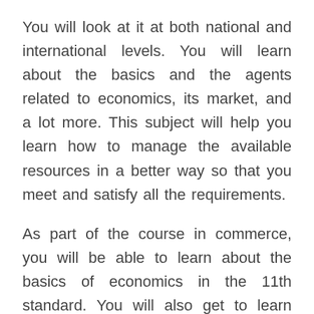You will look at it at both national and international levels. You will learn about the basics and the agents related to economics, its market, and a lot more. This subject will help you learn how to manage the available resources in a better way so that you meet and satisfy all the requirements.
As part of the course in commerce, you will be able to learn about the basics of economics in the 11th standard. You will also get to learn about macroeconomics, microeconomics, and some real-time information about the present economic condition of the country. Some very important and common topics in economics include statics of economics, Development of Indian economics, and